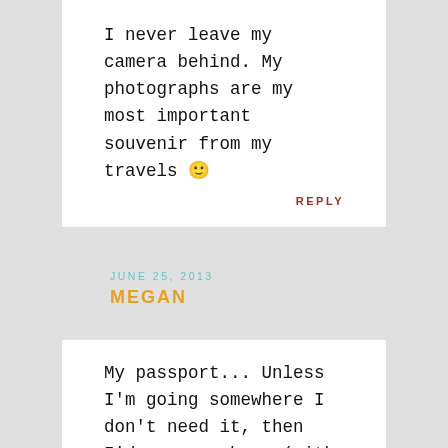I never leave my camera behind. My photographs are my most important souvenir from my travels 🙂
REPLY
JUNE 25, 2013
MEGAN
My passport... Unless I'm going somewhere I don't need it, then I'd say my phone (with chargers!)
REPLY
JUNE 25, 2013
ALEX